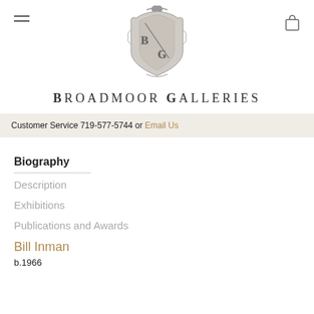[Figure (logo): Broadmoor Galleries crest logo with B and G letters]
BROADMOOR GALLERIES
Customer Service 719-577-5744 or Email Us
Biography
Description
Exhibitions
Publications and Awards
Bill Inman
b.1966